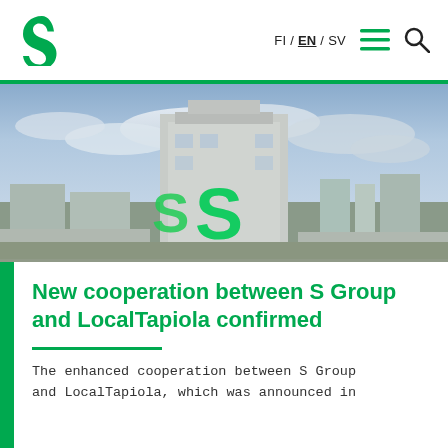S Group logo | FI / EN / SV | menu | search
[Figure (photo): Aerial view of an S Group building with large green S logo on the facade, city skyline in background with cloudy sky]
New cooperation between S Group and LocalTapiola confirmed
The enhanced cooperation between S Group and LocalTapiola, which was announced in